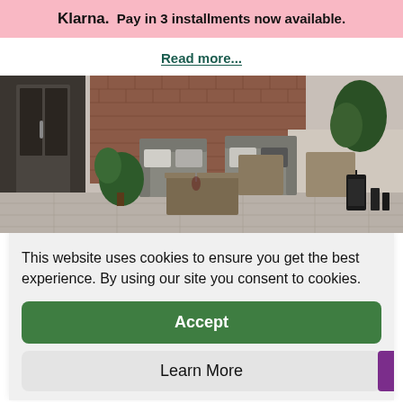Klarna. Pay in 3 installments now available.
Read more...
[Figure (photo): Outdoor garden patio furniture scene with wooden sofa set, cushions, coffee table, brick wall, plants, and lanterns on a paved terrace.]
This website uses cookies to ensure you get the best experience. By using our site you consent to cookies.
Accept
Learn More